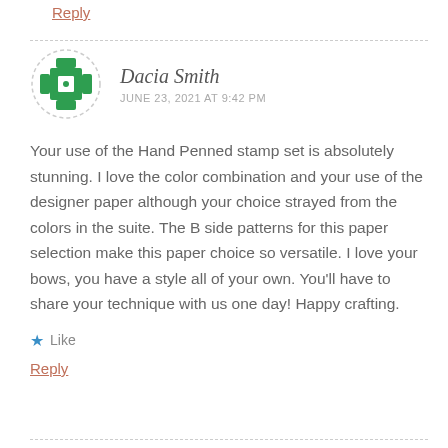Reply
[Figure (logo): Green pixel/diamond pattern avatar icon inside a dashed circle for user Dacia Smith]
Dacia Smith
JUNE 23, 2021 AT 9:42 PM
Your use of the Hand Penned stamp set is absolutely stunning. I love the color combination and your use of the designer paper although your choice strayed from the colors in the suite. The B side patterns for this paper selection make this paper choice so versatile. I love your bows, you have a style all of your own. You'll have to share your technique with us one day! Happy crafting.
★ Like
Reply